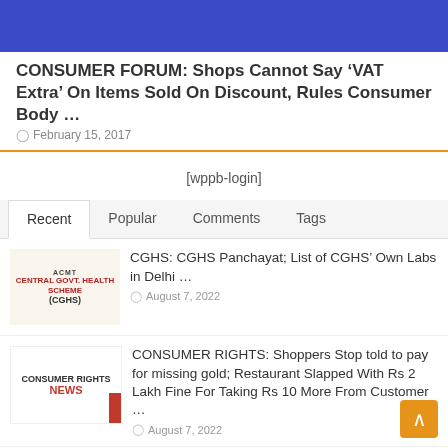[Figure (illustration): Blue banner/header image at the top of the page]
CONSUMER FORUM: Shops Cannot Say ‘VAT Extra’ On Items Sold On Discount, Rules Consumer Body …
February 15, 2017
[wppb-login]
Recent  Popular  Comments  Tags
[Figure (logo): CGHS (Central Govt. Health Scheme) logo thumbnail]
CGHS: CGHS Panchayat; List of CGHS’ Own Labs in Delhi …
August 7, 2022
[Figure (logo): Consumer Rights News logo thumbnail]
CONSUMER RIGHTS: Shoppers Stop told to pay for missing gold; Restaurant Slapped With Rs 2 Lakh Fine For Taking Rs 10 More From Customer …
August 7, 2022